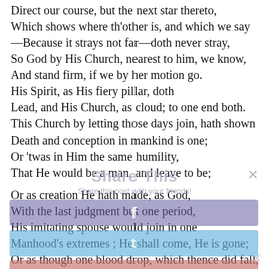Direct our course, but the next star thereto,
Which shows where th'other is, and which we say
—Because it strays not far—doth never stray,
So God by His Church, nearest to him, we know,
And stand firm, if we by her motion go.
His Spirit, as His fiery pillar, doth
Lead, and His Church, as cloud; to one end both.
This Church by letting those days join, hath shown
Death and conception in mankind is one;
Or 'twas in Him the same humility,
That He would be a man, and leave to be;

Or as creation He hath made, as God,
With the last judgment but one period,
His imitating spouse would join in one
Manhood's extremes ; He shall come, He is gone;
Or as though one blood drop, which thence did fall,
Accepted, would have served, He yet shed all,